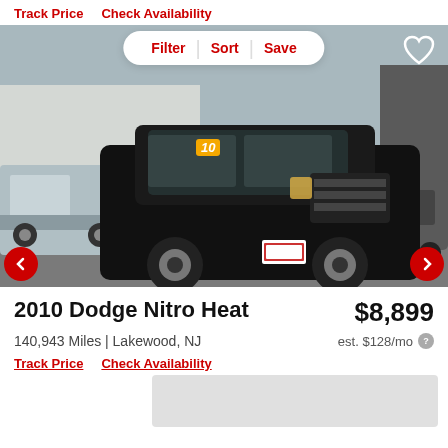Track Price   Check Availability
[Figure (screenshot): Car listing app UI with filter/sort/save bar over a photo of a black 2010 Dodge Nitro Heat SUV in a dealership lot]
2010 Dodge Nitro Heat
$8,899
140,943 Miles | Lakewood, NJ
est. $128/mo
Track Price   Check Availability